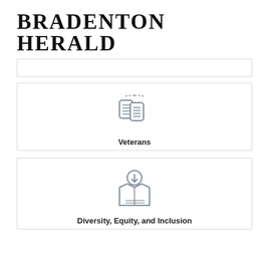BRADENTON HERALD
[Figure (illustration): Empty card/placeholder box with light gray border]
[Figure (illustration): Military dog tags icon with dashed chain, representing Veterans category]
Veterans
[Figure (illustration): Open box with downward arrow and circle on top, representing Diversity, Equity, and Inclusion category]
Diversity, Equity, and Inclusion